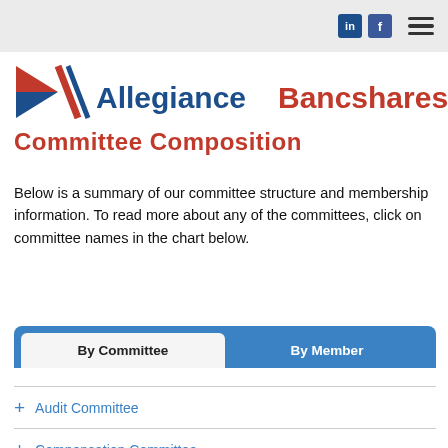AllegianceBancshares, Inc.
Committee Composition
Below is a summary of our committee structure and membership information. To read more about any of the committees, click on committee names in the chart below.
By Committee | By Member (tab navigation)
+ Audit Committee
+ Compensation Committee